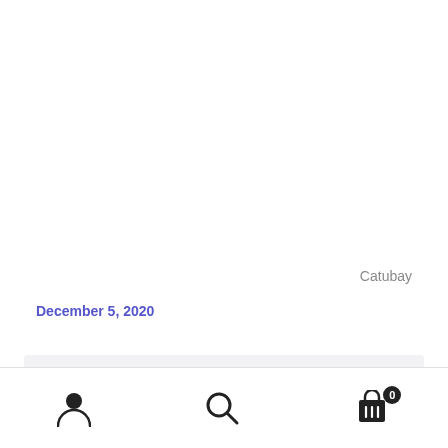Catubay
December 5, 2020
INFORMATIVE,
Maybe it was a reason why lots of races, tribe, and country dont rely in GREGORIAN CALENDAR , JULIAN CALENDAR , SOTHIC CALENDAR , ROMAN CALENDAR because it gives a lot if CONFUSION in calculating and tracking time and date ….
like MUSLIM they RELY IN THERE OWNER